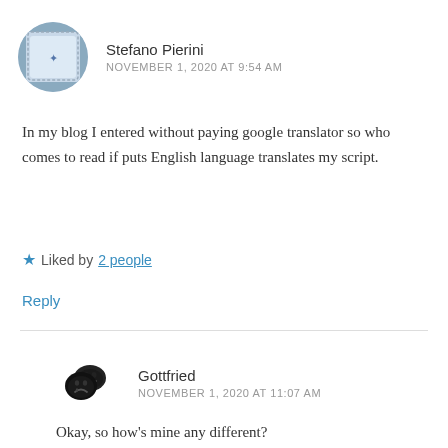Stefano Pierini
NOVEMBER 1, 2020 AT 9:54 AM
In my blog I entered without paying google translator so who comes to read if puts English language translates my script.
★ Liked by 2 people
Reply
Gottfried
NOVEMBER 1, 2020 AT 11:07 AM
Okay, so how’s mine any different?